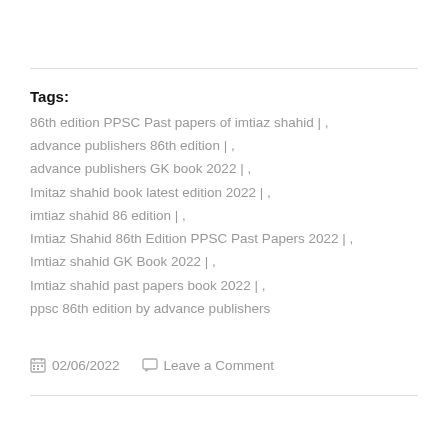Tags:
86th edition PPSC Past papers of imtiaz shahid | , advance publishers 86th edition | , advance publishers GK book 2022 | , Imitaz shahid book latest edition 2022 | , imtiaz shahid 86 edition | , Imtiaz Shahid 86th Edition PPSC Past Papers 2022 | , Imtiaz shahid GK Book 2022 | , Imtiaz shahid past papers book 2022 | , ppsc 86th edition by advance publishers
02/06/2022   Leave a Comment